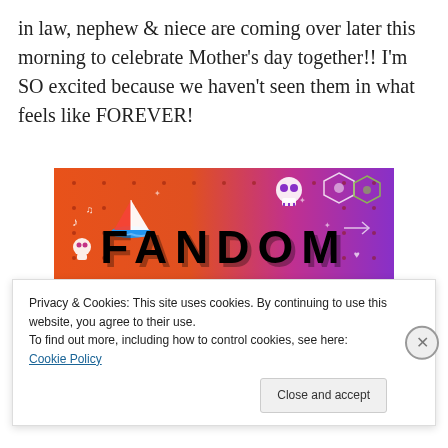in law, nephew & niece are coming over later this morning to celebrate Mother's day together!! I'm SO excited because we haven't seen them in what feels like FOREVER!
[Figure (illustration): Fandom on Tumblr promotional image with orange-to-purple gradient background, white doodle icons (skull, music notes, hearts, arrows, sailboat), and bold text reading FANDOM ON tumblr]
Privacy & Cookies: This site uses cookies. By continuing to use this website, you agree to their use.
To find out more, including how to control cookies, see here: Cookie Policy
[Close and accept button]